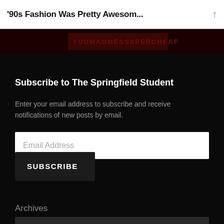'90s Fashion Was Pretty Awesom...
[Figure (photo): Dark red banner image at the top of the dark content area, partially visible]
Subscribe to The Springfield Student
Enter your email address to subscribe and receive notifications of new posts by email.
[Figure (screenshot): Email Address input field (white text box with placeholder 'Email Address')]
[Figure (screenshot): SUBSCRIBE button (dark box with white uppercase text)]
Archives